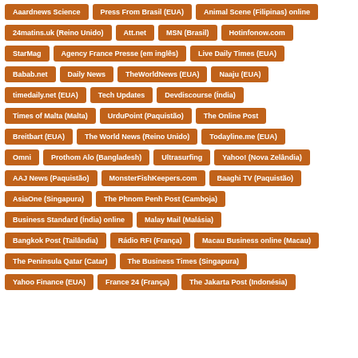Aaardnews Science
Press From Brasil (EUA)
Animal Scene (Filipinas) online
24matins.uk (Reino Unido)
Att.net
MSN (Brasil)
Hotinfonow.com
StarMag
Agency France Presse (em inglês)
Live Daily Times (EUA)
Babab.net
Daily News
TheWorldNews (EUA)
Naaju (EUA)
timedaily.net (EUA)
Tech Updates
Devdiscourse (Índia)
Times of Malta (Malta)
UrduPoint (Paquistão)
The Online Post
Breitbart (EUA)
The World News (Reino Unido)
Todayline.me (EUA)
Omni
Prothom Alo (Bangladesh)
Ultrasurfing
Yahoo! (Nova Zelândia)
AAJ News (Paquistão)
MonsterFishKeepers.com
Baaghi TV (Paquistão)
AsiaOne (Singapura)
The Phnom Penh Post (Camboja)
Business Standard (Índia) online
Malay Mail (Malásia)
Bangkok Post (Tailândia)
Rádio RFI (França)
Macau Business online (Macau)
The Peninsula Qatar (Catar)
The Business Times (Singapura)
Yahoo Finance (EUA)
France 24 (França)
The Jakarta Post (Indonésia)